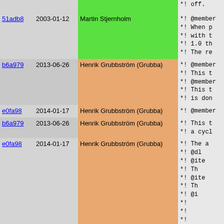| hash | date | author | code |
| --- | --- | --- | --- |
|  |  |  | *!    off. |
| 51adb8 | 2003-01-12 | Martin Stjernholm | *! @member
*!    When p
*!    with t
*!    1.0 th
*!    The re |
| b6a979 | 2013-06-26 | Henrik Grubbström (Grubba) | *! @member
*!    This t
*! @member
*!    This t
*!    is don |
| e0fa98 | 2014-01-17 | Henrik Grubbström (Grubba) | *! @member |
| b6a979 | 2013-06-26 | Henrik Grubbström (Grubba) | *!    This t
*!    a cycl |
| e0fa98 | 2014-01-17 | Henrik Grubbström (Grubba) | *!    The a
*!    @dl
*!      @ite
*!        Th
*!      @ite
*!        Th
*!      @i
*!
*!
*!
*!
*!      @e
*!    @ite |